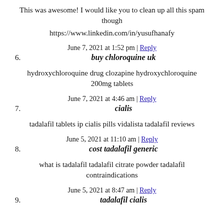This was awesome! I would like you to clean up all this spam though
https://www.linkedin.com/in/yusufhanafy
June 7, 2021 at 1:52 pm | Reply
6. buy chloroquine uk
hydroxychloroquine drug clozapine hydroxychloroquine 200mg tablets
June 7, 2021 at 4:46 am | Reply
7. cialis
tadalafil tablets ip cialis pills vidalista tadalafil reviews
June 5, 2021 at 11:10 am | Reply
8. cost tadalafil generic
what is tadalafil tadalafil citrate powder tadalafil contraindications
June 5, 2021 at 8:47 am | Reply
9. tadalafil cialis